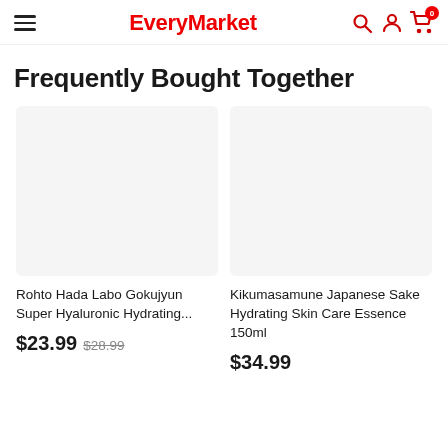EveryMarket
Frequently Bought Together
[Figure (photo): Product image placeholder for Rohto Hada Labo Gokujyun Super Hyaluronic Hydrating]
Rohto Hada Labo Gokujyun Super Hyaluronic Hydrating...
$23.99 $28.99
[Figure (photo): Product image placeholder for Kikumasamune Japanese Sake Hydrating Skin Care Essence 150ml]
Kikumasamune Japanese Sake Hydrating Skin Care Essence 150ml
$34.99